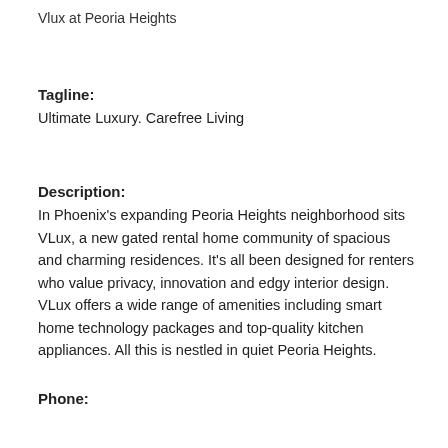Vlux at Peoria Heights
Tagline:
Ultimate Luxury. Carefree Living
Description:
In Phoenix's expanding Peoria Heights neighborhood sits VLux, a new gated rental home community of spacious and charming residences. It's all been designed for renters who value privacy, innovation and edgy interior design. VLux offers a wide range of amenities including smart home technology packages and top-quality kitchen appliances. All this is nestled in quiet Peoria Heights.
Phone: